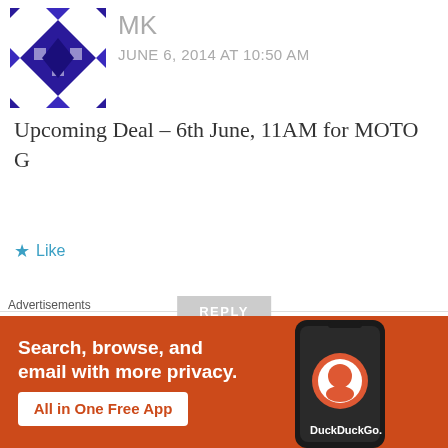[Figure (illustration): Purple geometric avatar for user MK]
MK
JUNE 6, 2014 AT 10:50 AM
Upcoming Deal – 6th June, 11AM for MOTO G
Like
REPLY
[Figure (illustration): Purple house/hedgehog avatar for Guest user]
Guest
JUNE 6, 2014 AT 4:05 PM
Advertisements
[Figure (illustration): DuckDuckGo advertisement banner: Search, browse, and email with more privacy. All in One Free App.]